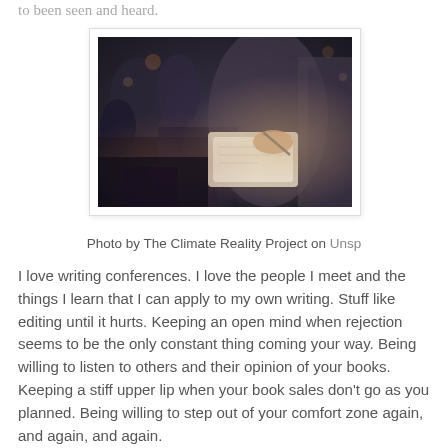to been seen and heard.
[Figure (photo): Audience members at a writing conference, seated and taking notes. Close-up of hands writing in a notebook, with blurred people in background.]
Photo by The Climate Reality Project on Unsp
I love writing conferences. I love the people I meet and the things I learn that I can apply to my own writing. Stuff like editing until it hurts. Keeping an open mind when rejection seems to be the only constant thing coming your way. Being willing to listen to others and their opinion of your books. Keeping a stiff upper lip when your book sales don't go as you planned. Being willing to step out of your comfort zone again, and again, and again.